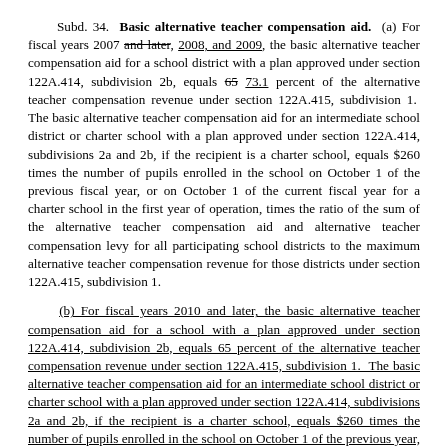Subd. 34. Basic alternative teacher compensation aid. (a) For fiscal years 2007 and later, 2008, and 2009, the basic alternative teacher compensation aid for a school district with a plan approved under section 122A.414, subdivision 2b, equals 65 73.1 percent of the alternative teacher compensation revenue under section 122A.415, subdivision 1. The basic alternative teacher compensation aid for an intermediate school district or charter school with a plan approved under section 122A.414, subdivisions 2a and 2b, if the recipient is a charter school, equals $260 times the number of pupils enrolled in the school on October 1 of the previous fiscal year, or on October 1 of the current fiscal year for a charter school in the first year of operation, times the ratio of the sum of the alternative teacher compensation aid and alternative teacher compensation levy for all participating school districts to the maximum alternative teacher compensation revenue for those districts under section 122A.415, subdivision 1.
(b) For fiscal years 2010 and later, the basic alternative teacher compensation aid for a school with a plan approved under section 122A.414, subdivision 2b, equals 65 percent of the alternative teacher compensation revenue under section 122A.415, subdivision 1. The basic alternative teacher compensation aid for an intermediate school district or charter school with a plan approved under section 122A.414, subdivisions 2a and 2b, if the recipient is a charter school, equals $260 times the number of pupils enrolled in the school on October 1 of the previous year, or on October 1 of the current year for a charter school in the first year of operation, times the ratio of the sum of the alternative teacher compensation aid and alternative teacher compensation levy for all participating school districts to the maximum alternative teacher compensation revenue for those districts under section 122A.415, subdivision 1.